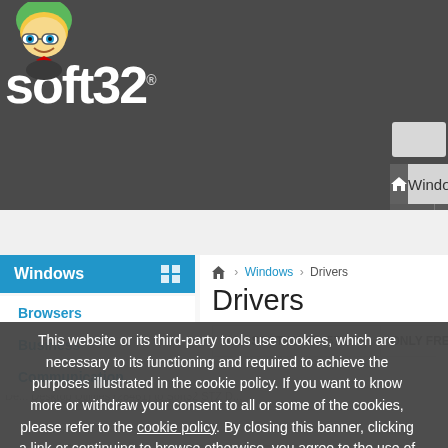[Figure (logo): Soft32 website screenshot showing logo with mascot character, navigation bar with Windows/Mac/Mobile/Blog tabs, and Drivers category page]
soft32 - Windows > Drivers
Windows
Browsers
Business
Communication
Windows > Drivers
Drivers
ALL SOFTWARE (57,122)    ONLY FREE (57...
This website or its third-party tools use cookies, which are necessary to its functioning and required to achieve the purposes illustrated in the cookie policy. If you want to know more or withdraw your consent to all or some of the cookies, please refer to the cookie policy. By closing this banner, clicking a link or continuing to browse otherwise, you agree to the use of cookies.